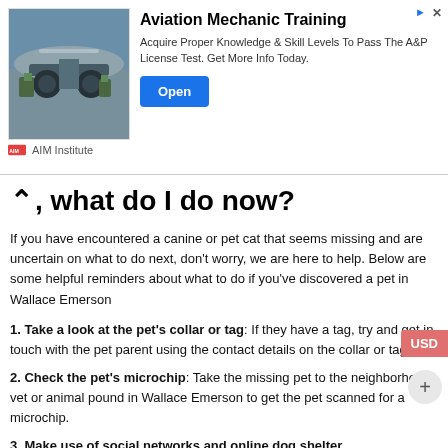[Figure (infographic): Advertisement banner for AIM Institute Aviation Mechanic Training. Shows an image of aircraft landing gear with mechanics. Text reads: Aviation Mechanic Training - Acquire Proper Knowledge & Skill Levels To Pass The A&P License Test. Get More Info Today. Has an Open button and AIM Institute branding.]
Ok, what do I do now?
If you have encountered a canine or pet cat that seems missing and are uncertain on what to do next, don't worry, we are here to help. Below are some helpful reminders about what to do if you've discovered a pet in Wallace Emerson
1. Take a look at the pet's collar or tag: If they have a tag, try and get in touch with the pet parent using the contact details on the collar or tag.
2. Check the pet's microchip: Take the missing pet to the neighborhood vet or animal pound in Wallace Emerson to get the pet scanned for a microchip.
3. Make use of social networks and online dog shelter